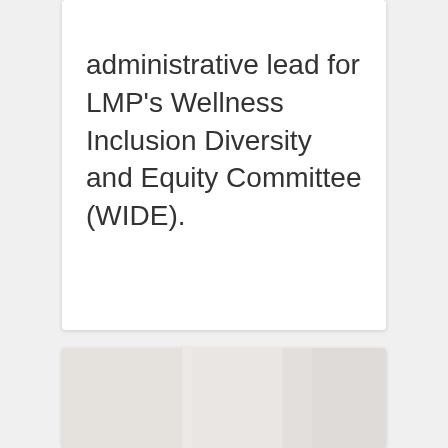administrative lead for LMP's Wellness Inclusion Diversity and Equity Committee (WIDE).
[Figure (photo): Portrait photo of a smiling man with dark short hair, beard and stubble, wearing a grey t-shirt, laughing and looking downward to his right, against a light blurred background.]